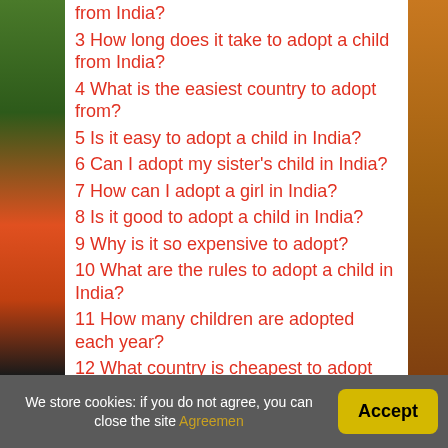from India?
3 How long does it take to adopt a child from India?
4 What is the easiest country to adopt from?
5 Is it easy to adopt a child in India?
6 Can I adopt my sister's child in India?
7 How can I adopt a girl in India?
8 Is it good to adopt a child in India?
9 Why is it so expensive to adopt?
10 What are the rules to adopt a child in India?
11 How many children are adopted each year?
12 What country is cheapest to adopt from?
We store cookies: if you do not agree, you can close the site Agreemen